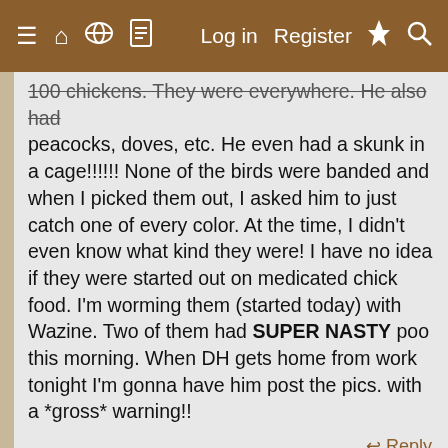≡  ⌂  ⌨  ☰   Log in   Register  ⚡  🔍
100 chickens. They were everywhere. He also had peacocks, doves, etc. He even had a skunk in a cage!!!!!! None of the birds were banded and when I picked them out, I asked him to just catch one of every color. At the time, I didn't even know what kind they were! I have no idea if they were started out on medicated chick food. I'm worming them (started today) with Wazine. Two of them had SUPER NASTY poo this morning. When DH gets home from work tonight I'm gonna have him post the pics. with a *gross* warning!!
↩ Reply